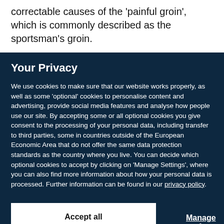correctable causes of the 'painful groin', which is commonly described as the sportsman's groin.
Your Privacy
We use cookies to make sure that our website works properly, as well as some 'optional' cookies to personalise content and advertising, provide social media features and analyse how people use our site. By accepting some or all optional cookies you give consent to the processing of your personal data, including transfer to third parties, some in countries outside of the European Economic Area that do not offer the same data protection standards as the country where you live. You can decide which optional cookies to accept by clicking on 'Manage Settings', where you can also find more information about how your personal data is processed. Further information can be found in our privacy policy.
Accept all cookies
Manage preferences